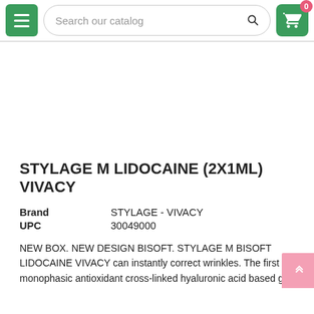Search our catalog
STYLAGE M LIDOCAINE (2X1ML) VIVACY
| Field | Value |
| --- | --- |
| Brand | STYLAGE - VIVACY |
| UPC | 30049000 |
NEW BOX. NEW DESIGN BISOFT. STYLAGE M BISOFT LIDOCAINE VIVACY can instantly correct wrinkles. The first monophasic antioxidant cross-linked hyaluronic acid based gel